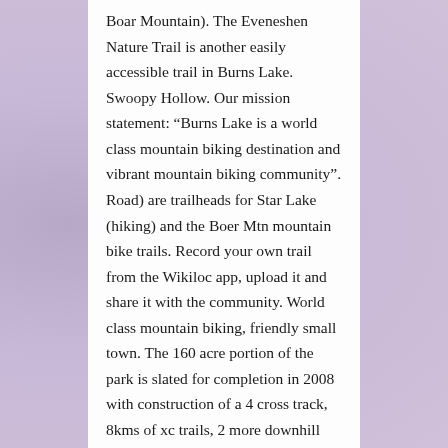Boar Mountain). The Eveneshen Nature Trail is another easily accessible trail in Burns Lake. Swoopy Hollow. Our mission statement: “Burns Lake is a world class mountain biking destination and vibrant mountain biking community”. Road) are trailheads for Star Lake (hiking) and the Boer Mtn mountain bike trails. Record your own trail from the Wikiloc app, upload it and share it with the community. World class mountain biking, friendly small town. The 160 acre portion of the park is slated for completion in 2008 with construction of a 4 cross track, 8kms of xc trails, 2 more downhill trails and a freeride trail around slug lake inspired by Whistlers “A